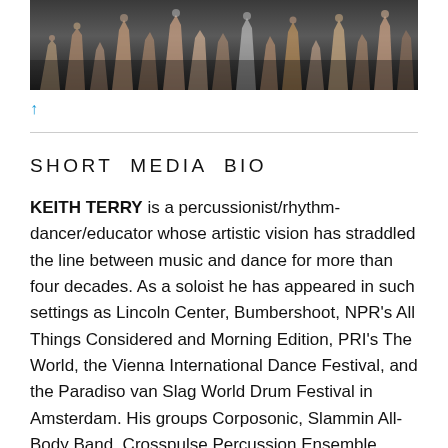[Figure (photo): A large group photo showing many arms and hands raised upward against a dark background, likely an audience or performers at an event.]
↑
SHORT MEDIA BIO
KEITH TERRY is a percussionist/rhythm-dancer/educator whose artistic vision has straddled the line between music and dance for more than four decades. As a soloist he has appeared in such settings as Lincoln Center, Bumbershoot, NPR's All Things Considered and Morning Edition, PRI's The World, the Vienna International Dance Festival, and the Paradiso van Slag World Drum Festival in Amsterdam. His groups Corposonic, Slammin All-Body Band, Crosspulse Percussion Ensemble, Crosspulse Duo